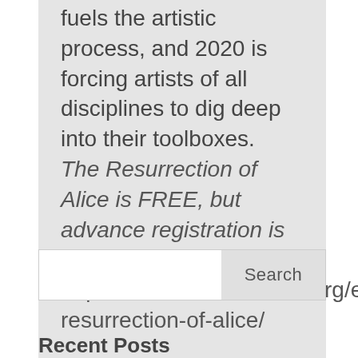fuels the artistic process, and 2020 is forcing artists of all disciplines to dig deep into their toolboxes. The Resurrection of Alice is FREE, but advance registration is required. Register here: https://theschaefercenter.org/event/the-resurrection-of-alice/
Search
Recent Posts